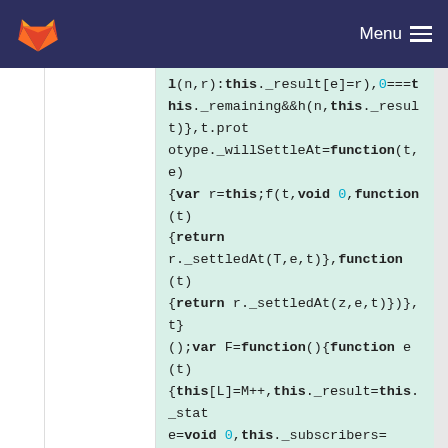Menu
[Figure (screenshot): GitLab logo (fox/tanuki icon in orange) in top-left header]
l(n,r):this._result[e]=r),0===this._remaining&&h(n,this._result)},t.prototype._willSettleAt=function(t,e){var r=this;f(t,void 0,function(t){return r._settledAt(T,e,t)},function(t){return r._settledAt(z,e,t)}),t}();var F=function(){function e(t){this[L]=M++,this._result=this._state=void 0,this._subscribers=[],i!==t&&("function"!=typeof t&&function(){throw new TypeError("You must pass a resolver function as the first argument to the promise constructor")}(),this instanceof e?function(t,e){try{e(function(e){p(t,e)},function(e){l(t,e)})}catch(e){l(t,e)}}(this,t):function(){throw new